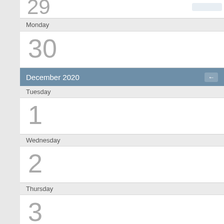29
Monday
30
December 2020
Tuesday
1
Wednesday
2
Thursday
3
Friday
4
Birthdays: Tarcy (57